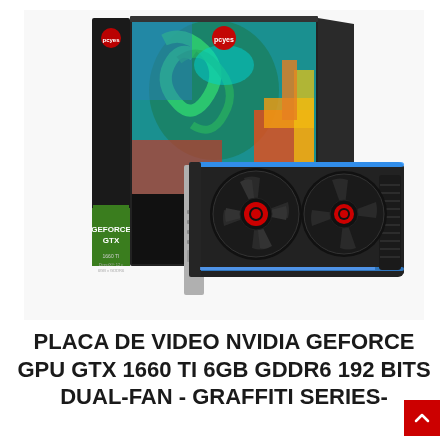[Figure (photo): Product photo of a PCYES GeForce GTX graphics card (GPU) with dual fans showing the card itself alongside its retail box. The box features colorful graffiti/dragon artwork with green and orange elements. The card has dual black fans with red center accents and blue LED lighting. Box shows GEFORCE GTX branding in green on black, and text reading DirectX 12, 6GB GDDR6, 1660 TI.]
PLACA DE VIDEO NVIDIA GEFORCE GPU GTX 1660 TI 6GB GDDR6 192 BITS DUAL-FAN - GRAFFITI SERIES-